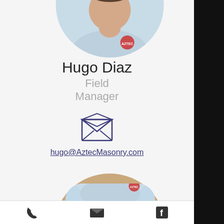[Figure (photo): Partial circular profile photo of Hugo Diaz in a light blue shirt with Aztec logo, cropped at top of page]
Hugo Diaz
Field
Manager
[Figure (illustration): Open envelope email icon in dark navy/blue outline style]
hugo@AztecMasonry.com
[Figure (photo): Circular profile photo of a woman with curly brown/blonde hair smiling, with stone/brick wall background]
[Figure (illustration): Bottom navigation bar with phone, email/envelope, and Facebook icons]
[Figure (photo): Partial view of a third person's photo at the bottom of the page]